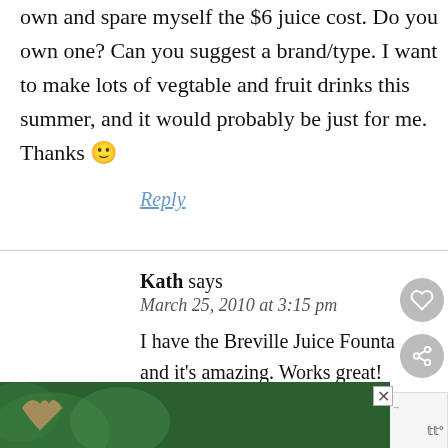own and spare myself the $6 juice cost. Do you own one? Can you suggest a brand/type. I want to make lots of vegtable and fruit drinks this summer, and it would probably be just for me. Thanks 🙂
Reply
Kath says
March 25, 2010 at 3:15 pm
I have the Breville Juice Founta and it's amazing. Works great!
[Figure (screenshot): LOVE > HATE advertisement banner with hands forming heart shape against green background]
[Figure (screenshot): What's Next promotional box showing Kath Eats....Real... thumbnail]